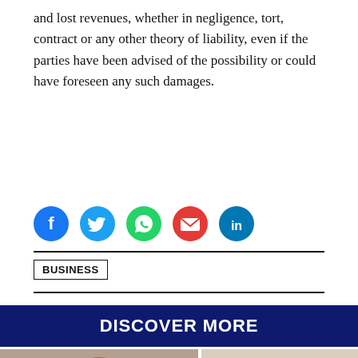and lost revenues, whether in negligence, tort, contract or any other theory of liability, even if the parties have been advised of the possibility or could have foreseen any such damages.
[Figure (infographic): Row of five social media share icons: Facebook (blue circle with f), Twitter (light blue circle with bird), WhatsApp (green circle with phone), Email (red circle with envelope), LinkedIn (blue circle with in)]
BUSINESS
DISCOVER MORE
[Figure (photo): Partial photo of a person's head/face at bottom left]
[Figure (photo): Partial photo at bottom right with light background]